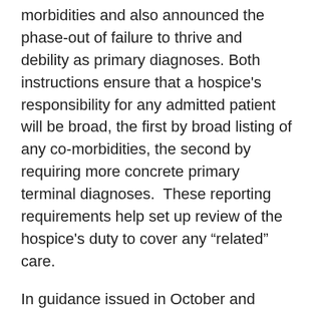morbidities and also announced the phase-out of failure to thrive and debility as primary diagnoses. Both instructions ensure that a hospice's responsibility for any admitted patient will be broad, the first by broad listing of any co-morbidities, the second by requiring more concrete primary terminal diagnoses.  These reporting requirements help set up review of the hospice's duty to cover any “related” care.
In guidance issued in October and December,[1] CMS explores a hospice’s dual obligation to cover any medical care (including drugs) for any related condition but to limit such care to pain or symptom relief.
CMS concedes that historically it has viewed the